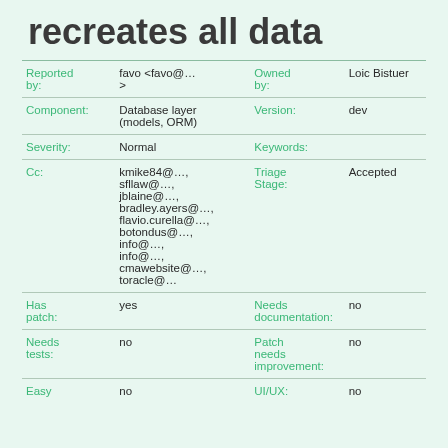recreates all data
| Field | Value | Field | Value |
| --- | --- | --- | --- |
| Reported by: | favo <favo@…> | Owned by: | Loic Bistuer |
| Component: | Database layer (models, ORM) | Version: | dev |
| Severity: | Normal | Keywords: |  |
| Cc: | kmike84@…,
sfllaw@…,
jblaine@…,
bradley.ayers@…,
flavio.curella@…,
botondus@…,
info@…,
info@…,
cmawebsite@…,
toracle@… | Triage Stage: | Accepted |
| Has patch: | yes | Needs documentation: | no |
| Needs tests: | no | Patch needs improvement: | no |
| Easy | no | UI/UX: | no |